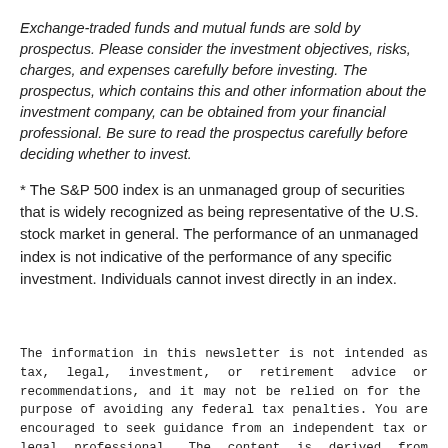Exchange-traded funds and mutual funds are sold by prospectus. Please consider the investment objectives, risks, charges, and expenses carefully before investing. The prospectus, which contains this and other information about the investment company, can be obtained from your financial professional. Be sure to read the prospectus carefully before deciding whether to invest.
* The S&P 500 index is an unmanaged group of securities that is widely recognized as being representative of the U.S. stock market in general. The performance of an unmanaged index is not indicative of the performance of any specific investment. Individuals cannot invest directly in an index.
The information in this newsletter is not intended as tax, legal, investment, or retirement advice or recommendations, and it may not be relied on for the purpose of avoiding any federal tax penalties. You are encouraged to seek guidance from an independent tax or legal professional. The content is derived from sources believed to be accurate. Neither the information presented nor any opinion expressed constitutes